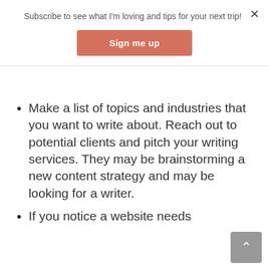Subscribe to see what I'm loving and tips for your next trip!
Sign me up
Make a list of topics and industries that you want to write about. Reach out to potential clients and pitch your writing services. They may be brainstorming a new content strategy and may be looking for a writer.
If you notice a website needs